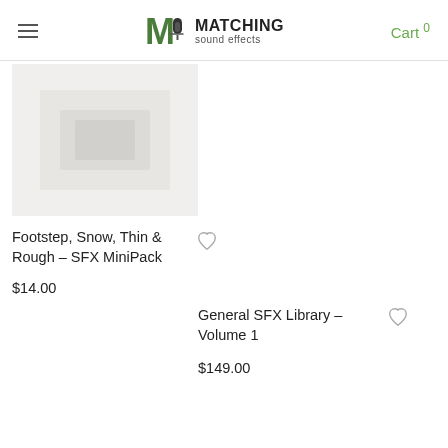Matching Sound Effects — Cart 0
[Figure (other): Product thumbnail placeholder image for Footstep Snow Thin Rough SFX MiniPack]
Footstep, Snow, Thin & Rough – SFX MiniPack
$14.00
General SFX Library – Volume 1
$149.00